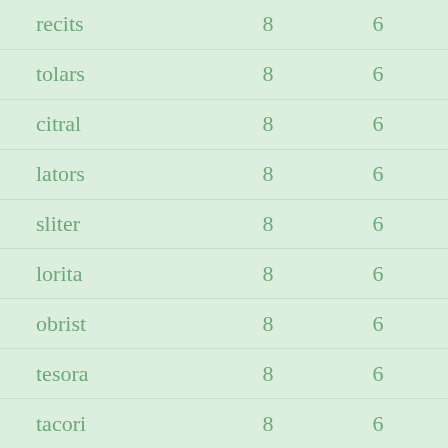| recits | 8 | 6 |
| tolars | 8 | 6 |
| citral | 8 | 6 |
| lators | 8 | 6 |
| sliter | 8 | 6 |
| lorita | 8 | 6 |
| obrist | 8 | 6 |
| tesora | 8 | 6 |
| tacori | 8 | 6 |